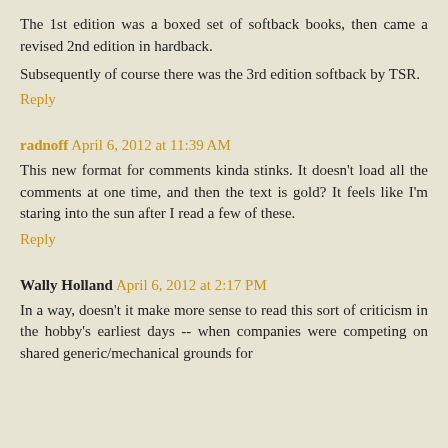The 1st edition was a boxed set of softback books, then came a revised 2nd edition in hardback.
Subsequently of course there was the 3rd edition softback by TSR.
Reply
radnoff April 6, 2012 at 11:39 AM
This new format for comments kinda stinks. It doesn't load all the comments at one time, and then the text is gold? It feels like I'm staring into the sun after I read a few of these.
Reply
Wally Holland April 6, 2012 at 2:17 PM
In a way, doesn't it make more sense to read this sort of criticism in the hobby's earliest days -- when companies were competing on shared generic/mechanical grounds for